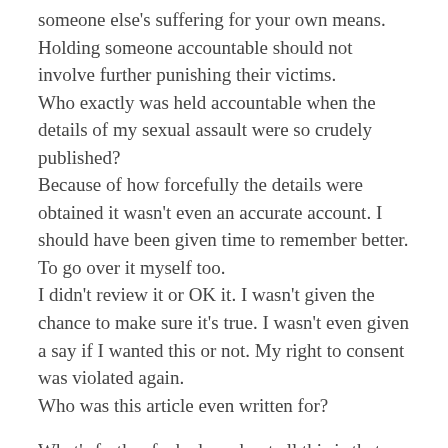someone else's suffering for your own means. Holding someone accountable should not involve further punishing their victims. Who exactly was held accountable when the details of my sexual assault were so crudely published? Because of how forcefully the details were obtained it wasn't even an accurate account. I should have been given time to remember better. To go over it myself too. I didn't review it or OK it. I wasn't given the chance to make sure it's true. I wasn't even given a say if I wanted this or not. My right to consent was violated again. Who was this article even written for?
What's further fucked up about all this is that other #metoo survivors in games that came forward DID